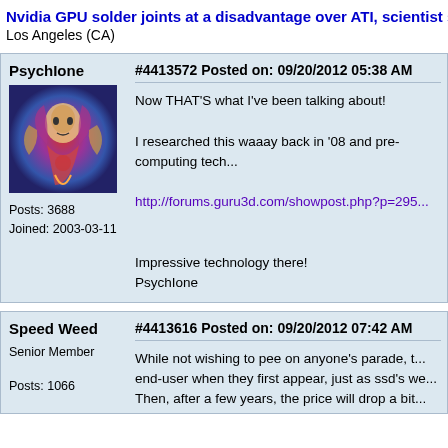Nvidia GPU solder joints at a disadvantage over ATI, scientist s...
Los Angeles (CA)
#4413572 Posted on: 09/20/2012 05:38 AM
PsychIone
Posts: 3688
Joined: 2003-03-11
[Figure (photo): Forum user avatar image - colorful psychedelic illustration of a deity-like figure]
Now THAT'S what I've been talking about!

I researched this waaay back in '08 and pre-computing tech...

http://forums.guru3d.com/showpost.php?p=295...

Impressive technology there!
PsychIone
#4413616 Posted on: 09/20/2012 07:42 AM
Speed Weed
Senior Member
Posts: 1066
While not wishing to pee on anyone's parade, t...
end-user when they first appear, just as ssd's we...
Then, after a few years, the price will drop a bit...